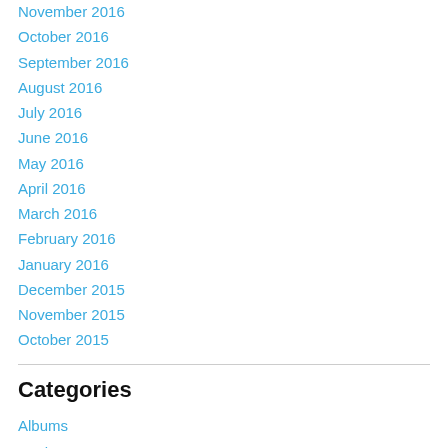November 2016
October 2016
September 2016
August 2016
July 2016
June 2016
May 2016
April 2016
March 2016
February 2016
January 2016
December 2015
November 2015
October 2015
Categories
Albums
Books
Films and Documentaries